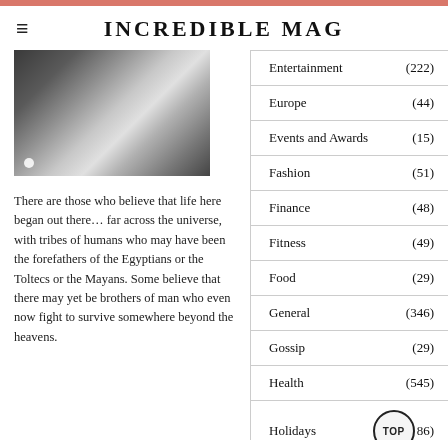INCREDIBLE MAG
[Figure (photo): Grayscale photo of a person, cropped close, wearing a light shirt and dark jacket]
There are those who believe that life here began out there… far across the universe, with tribes of humans who may have been the forefathers of the Egyptians or the Toltecs or the Mayans. Some believe that there may yet be brothers of man who even now fight to survive somewhere beyond the heavens.
Entertainment (222)
Europe (44)
Events and Awards (15)
Fashion (51)
Finance (48)
Fitness (49)
Food (29)
General (346)
Gossip (29)
Health (545)
Holidays (86)
Home Improvement (101)